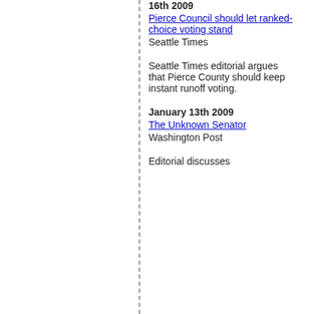16th 2009
Pierce Council should let ranked-choice voting stand
Seattle Times
Seattle Times editorial argues that Pierce County should keep instant runoff voting.
January 13th 2009
The Unknown Senator
Washington Post
Editorial discusses...